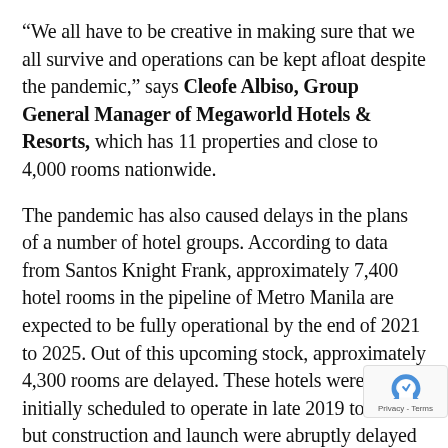“We all have to be creative in making sure that we all survive and operations can be kept afloat despite the pandemic,” says Cleofe Albiso, Group General Manager of Megaworld Hotels & Resorts, which has 11 properties and close to 4,000 rooms nationwide.
The pandemic has also caused delays in the plans of a number of hotel groups. According to data from Santos Knight Frank, approximately 7,400 hotel rooms in the pipeline of Metro Manila are expected to be fully operational by the end of 2021 to 2025. Out of this upcoming stock, approximately 4,300 rooms are delayed. These hotels were initially scheduled to operate in late 2019 to 2020 but construction and launch were abruptly delayed due to the pandemic.
The return of travel